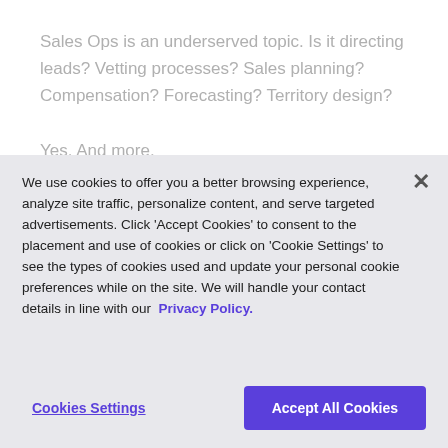Sales Ops is an underserved topic. Is it directing leads? Vetting processes? Sales planning? Compensation? Forecasting? Territory design?

Yes. And more.
We use cookies to offer you a better browsing experience, analyze site traffic, personalize content, and serve targeted advertisements. Click 'Accept Cookies' to consent to the placement and use of cookies or click on 'Cookie Settings' to see the types of cookies used and update your personal cookie preferences while on the site. We will handle your contact details in line with our Privacy Policy.
Cookies Settings
Accept All Cookies